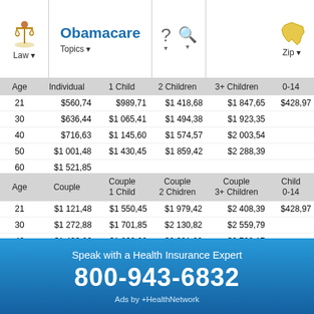Obamacare | Law | Topics | Zip
| Age | Individual | 1 Child | 2 Children | 3+ Children | 0-14 |
| --- | --- | --- | --- | --- | --- |
| 21 | $560,74 | $989,71 | $1 418,68 | $1 847,65 | $428,97 |
| 30 | $636,44 | $1 065,41 | $1 494,38 | $1 923,35 |  |
| 40 | $716,63 | $1 145,60 | $1 574,57 | $2 003,54 |  |
| 50 | $1 001,48 | $1 430,45 | $1 859,42 | $2 288,39 |  |
| 60 | $1 521,85 |  |  |  |  |
| Age | Couple | Couple 1 Child | Couple 2 Chidren | Couple 3+ Children | Child 0-14 |
| --- | --- | --- | --- | --- | --- |
| 21 | $1 121,48 | $1 550,45 | $1 979,42 | $2 408,39 | $428,97 |
| 30 | $1 272,88 | $1 701,85 | $2 130,82 | $2 559,79 |  |
| 40 | $1 433,26 | $1 862,23 | $2 291,20 | $2 720,17 |  |
| 50 | $2 002,96 | $2 431,93 | $2 860,90 | $3 289,87 |  |
| 60 | $3 043,70 |  |  |  |  |
Speak with a Health Insurance Expert
800-943-6832
Ads by +HealthNetwork